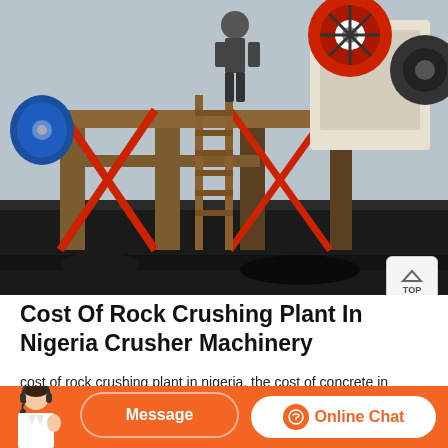[Figure (photo): Industrial rock crushing machinery on a construction/mining site. Shows large jaw crusher equipment with red structural supports, wooden ladder, blue electric motor, and a worker visible in the background. Heavy industrial equipment mounted on steel frame.]
Cost Of Rock Crushing Plant In Nigeria Crusher Machinery
cost of rock crushing plant in nigeria. the cost of concrete in Nigeria. As a professional crushing and grinding equipments manufacturer, kefid can supply you all kinds of machinery for you all over the world. Nigerian